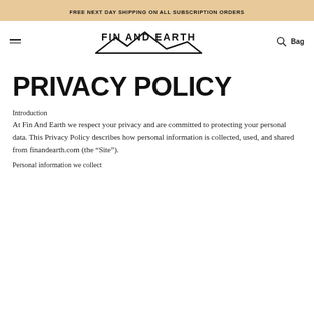FREE NEXT DAY SHIPPING ON ALL SUBSCRIPTION ORDERS
[Figure (logo): Fin And Earth logo with stylized mountain/wave graphic]
PRIVACY POLICY
Introduction
At Fin And Earth we respect your privacy and are committed to protecting your personal data. This Privacy Policy describes how personal information is collected, used, and shared from finandearth.com (the “Site”).
Personal information we collect